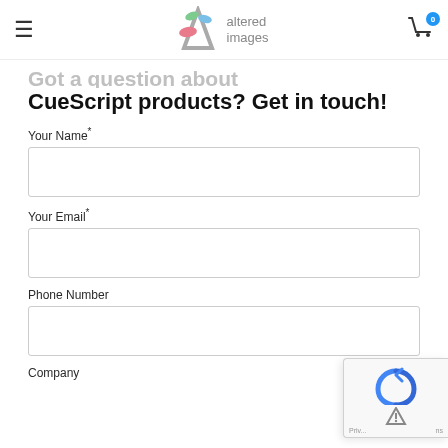altered images
Got a question about CueScript products? Get in touch!
Your Name*
Your Email*
Phone Number
Company